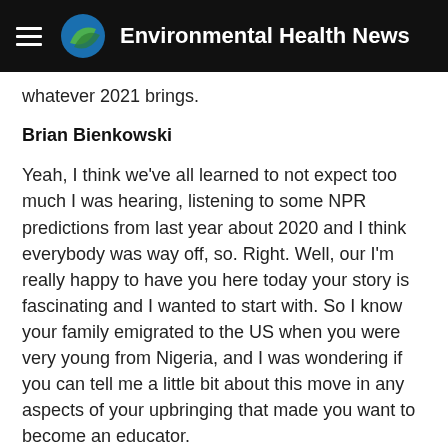Environmental Health News
whatever 2021 brings.
Brian Bienkowski
Yeah, I think we've all learned to not expect too much I was hearing, listening to some NPR predictions from last year about 2020 and I think everybody was way off, so. Right. Well, our I'm really happy to have you here today your story is fascinating and I wanted to start with. So I know your family emigrated to the US when you were very young from Nigeria, and I was wondering if you can tell me a little bit about this move in any aspects of your upbringing that made you want to become an educator.